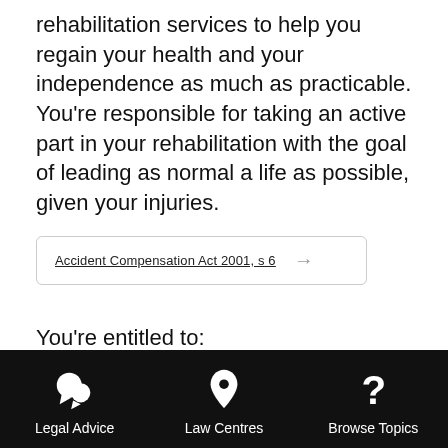rehabilitation services to help you regain your health and your independence as much as practicable. You're responsible for taking an active part in your rehabilitation with the goal of leading as normal a life as possible, given your injuries.
Accident Compensation Act 2001, s 6
You're entitled to:
Social rehabilitation – to restore your
Find the Answer to your Legal Question
Search the Community Law Manual...
Legal Advice | Law Centres | Browse Topics